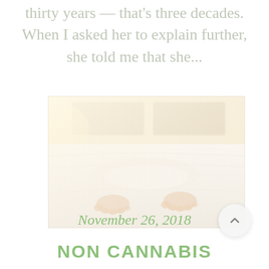thirty years — that's three decades. When I asked her to explain further, she told me that she...
[Figure (photo): A person lying in bed covered with white sheets, feet visible at the end of the bed, warm soft-focus lighting]
November 26, 2018
NON CANNABIS